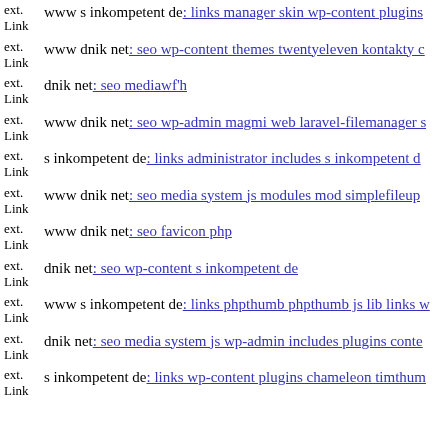ext. Link www s inkompetent de: links manager skin wp-content plugins
ext. Link www dnik net: seo wp-content themes twentyeleven kontakty c
ext. Link dnik net: seo mediawf'h
ext. Link www dnik net: seo wp-admin magmi web laravel-filemanager s
ext. Link s inkompetent de: links administrator includes s inkompetent d
ext. Link www dnik net: seo media system js modules mod simplefileup
ext. Link www dnik net: seo favicon php
ext. Link dnik net: seo wp-content s inkompetent de
ext. Link www s inkompetent de: links phpthumb phpthumb js lib links w
ext. Link dnik net: seo media system js wp-admin includes plugins conte
ext. Link s inkompetent de: links wp-content plugins chameleon timthum